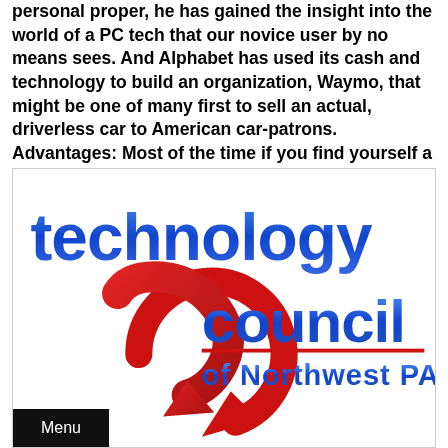personal proper, he has gained the insight into the world of a PC tech that our novice user by no means sees. And Alphabet has used its cash and technology to build an organization, Waymo, that might be one of many first to sell an actual, driverless car to American car-patrons. Advantages: Most of the time if you find yourself a technician you'll be working for larger companies.
[Figure (logo): Technology Council of Northwest PA logo featuring bold blue text 'technology council' with a red swoosh/arrow graphic and text 'of Northwest PA' below, with a dark Menu button in the bottom left corner]